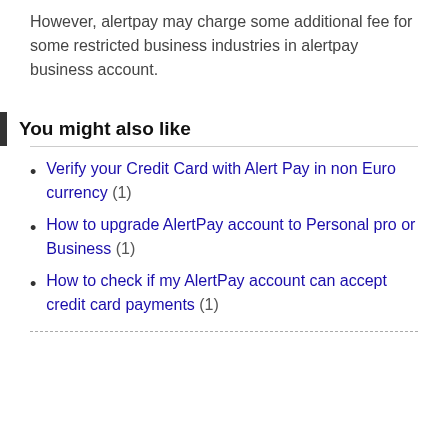However, alertpay may charge some additional fee for some restricted business industries in alertpay business account.
You might also like
Verify your Credit Card with Alert Pay in non Euro currency (1)
How to upgrade AlertPay account to Personal pro or Business (1)
How to check if my AlertPay account can accept credit card payments (1)